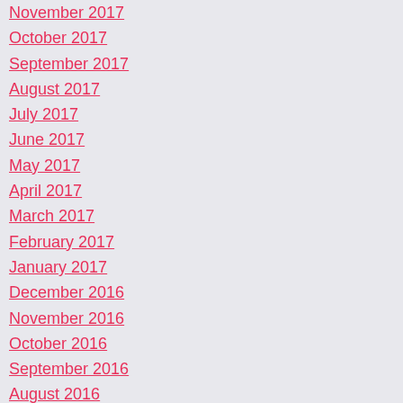November 2017
October 2017
September 2017
August 2017
July 2017
June 2017
May 2017
April 2017
March 2017
February 2017
January 2017
December 2016
November 2016
October 2016
September 2016
August 2016
July 2016
June 2016
May 2016